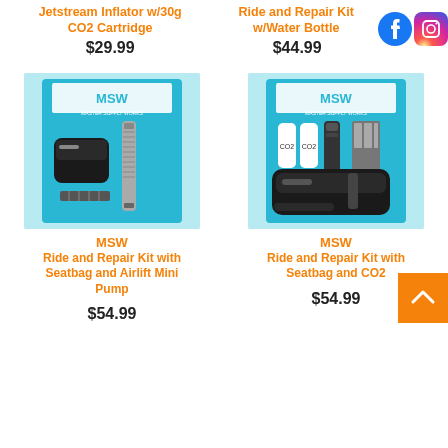Jetstream Inflator w/30g CO2 Cartridge
$29.99
Ride and Repair Kit w/Water Bottle
$44.99
[Figure (photo): MSW Ride and Repair Kit with Seatbag and Airlift Mini Pump product packaging on blue background]
MSW
Ride and Repair Kit with Seatbag and Airlift Mini Pump
$54.99
[Figure (photo): MSW Ride and Repair Kit with Seatbag and CO2 product packaging on blue background]
MSW
Ride and Repair Kit with Seatbag and CO2
$54.99